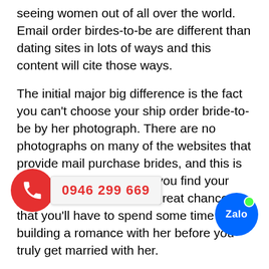seeing women out of all over the world. Email order birdes-to-be are different than dating sites in lots of ways and this content will cite those ways.
The initial major big difference is the fact you can't choose your ship order bride-to-be by her photograph. There are no photographs on many of the websites that provide mail purchase brides, and this is the big difference. When you find your dream woman, there's a great chance that you'll have to spend some time building a romance with her before you truly get married with her.
Another key difference among mail purchase brides and traditional dating sites is that these websites don't accept US citizens. Therefore even if if you're already a citizen, you may not be eligible. As the reasons that these websites don't all [phone overlay] be valid in some cases, the m[phone overlay]y with other clientele and will refuse to take on people who are US citizens. It's a [zalo] reality most snail mail order brides aren't completely happy in their